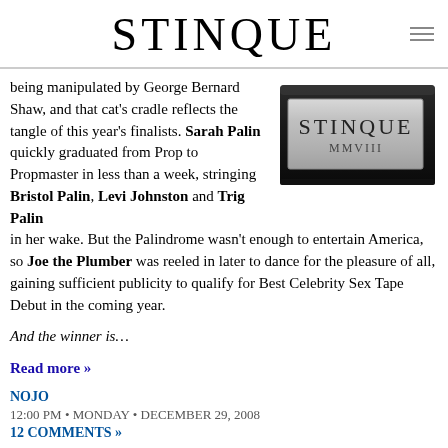STINQUE
being manipulated by George Bernard Shaw, and that cat's cradle reflects the tangle of this year's finalists. Sarah Palin quickly graduated from Prop to Propmaster in less than a week, stringing Bristol Palin, Levi Johnston and Trig Palin in her wake. But the Palindrome wasn't enough to entertain America, so Joe the Plumber was reeled in later to dance for the pleasure of all, gaining sufficient publicity to qualify for Best Celebrity Sex Tape Debut in the coming year.
[Figure (photo): A silver and black award plaque or block with 'STINQUE MMVIII' engraved on it]
And the winner is…
Read more »
NOJO
12:00 PM • MONDAY • DECEMBER 29, 2008
12 COMMENTS »